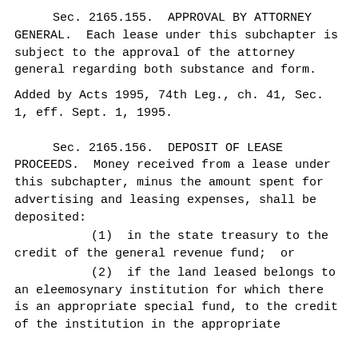Sec. 2165.155.  APPROVAL BY ATTORNEY GENERAL.  Each lease under this subchapter is subject to the approval of the attorney general regarding both substance and form.
Added by Acts 1995, 74th Leg., ch. 41, Sec. 1, eff. Sept. 1, 1995.
Sec. 2165.156.  DEPOSIT OF LEASE PROCEEDS.  Money received from a lease under this subchapter, minus the amount spent for advertising and leasing expenses, shall be deposited:
(1)  in the state treasury to the credit of the general revenue fund;  or
(2)  if the land leased belongs to an eleemosynary institution for which there is an appropriate special fund, to the credit of the institution in the appropriate